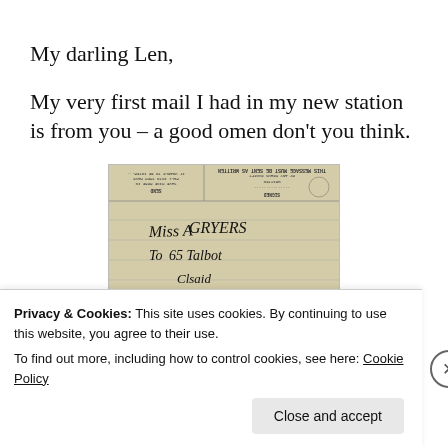My darling Len,
My very first mail I had in my new station is from you – a good omen don't you think.
[Figure (photo): A scanned telegram with upside-down printed header text and handwritten address lines reading 'Miss A GRYERS, To 65 Talbot, Clsaid']
Privacy & Cookies: This site uses cookies. By continuing to use this website, you agree to their use.
To find out more, including how to control cookies, see here: Cookie Policy
Close and accept